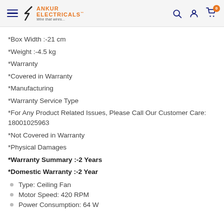Ankur Electricals
*Box Width :-21 cm
*Weight :-4.5 kg
*Warranty
*Covered in Warranty
*Manufacturing
*Warranty Service Type
*For Any Product Related Issues, Please Call Our Customer Care: 18001025963
*Not Covered in Warranty
*Physical Damages
*Warranty Summary :-2 Years
*Domestic Warranty :-2 Year
Type: Ceiling Fan
Motor Speed: 420 RPM
Power Consumption: 64 W